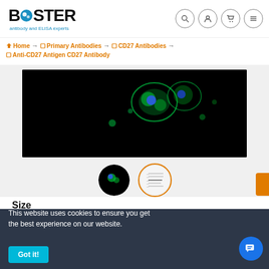[Figure (logo): Boster antibody and ELISA experts logo]
Home → Primary Antibodies → CD27 Antibodies → Anti-CD27 Antigen CD27 Antibody
[Figure (photo): Fluorescence microscopy image showing green and blue stained cells on black background]
[Figure (photo): Thumbnail: fluorescence microscopy cells]
[Figure (photo): Thumbnail: western blot ladder (active, orange border)]
Size
100ul $697
Total: $697  SKU:A01148-1
Quantity
1
This website uses cookies to ensure you get the best experience on our website.
Got it!